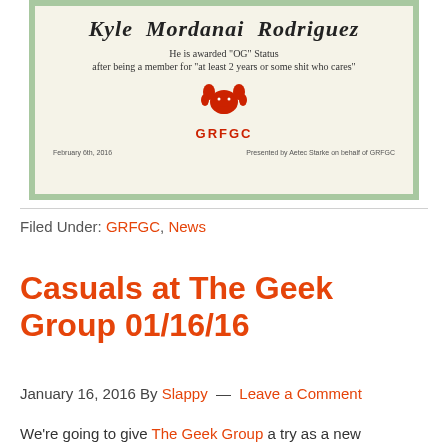[Figure (photo): Photo of a certificate for Kyle Mordanai Rodriguez awarding him OG Status after being a member for at least 2 years or some shit who cares, with GRFGC logo, dated February 6th 2016]
Filed Under: GRFGC, News
Casuals at The Geek Group 01/16/16
January 16, 2016 By Slappy — Leave a Comment
We're going to give The Geek Group a try as a new